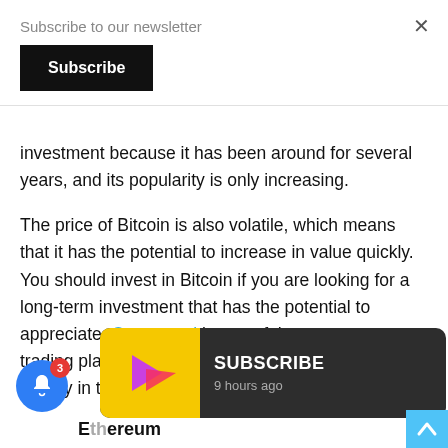Subscribe to our newsletter
[Figure (screenshot): Black Subscribe button]
investment because it has been around for several years, and its popularity is only increasing.
The price of Bitcoin is also volatile, which means that it has the potential to increase in value quickly. You should invest in Bitcoin if you are looking for a long-term investment that has the potential to appreciate. Quantumai is one of the top crypto trading platforms that you should choose to earn money in the future.
[Figure (screenshot): Subscribe notification popup with app icon, SUBSCRIBE heading, and '9 hours ago' timestamp]
Ethereum